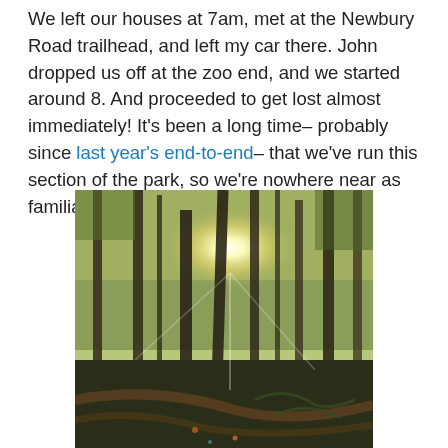We left our houses at 7am, met at the Newbury Road trailhead, and left my car there. John dropped us off at the zoo end, and we started around 8. And proceeded to get lost almost immediately! It's been a long time– probably since last year's end-to-end– that we've run this section of the park, so we're nowhere near as familiar with it.
[Figure (photo): Outdoor forest photo showing tall trees with sunlight bursting through the canopy, with fallen logs and ferns on the forest floor]